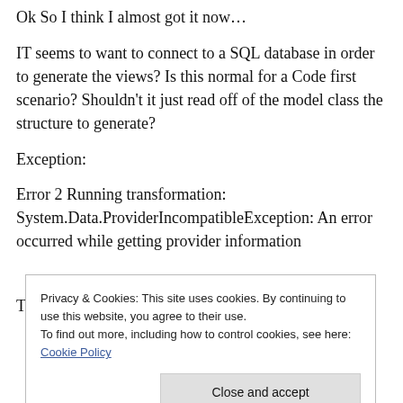Ok So I think I almost got it now…
IT seems to want to connect to a SQL database in order to generate the views? Is this normal for a Code first scenario? Shouldn't it just read off of the model class the structure to generate?
Exception:
Error 2 Running transformation: System.Data.ProviderIncompatibleException: An error occurred while getting provider information
Privacy & Cookies: This site uses cookies. By continuing to use this website, you agree to their use.
To find out more, including how to control cookies, see here: Cookie Policy
Close and accept
The provider did not return a